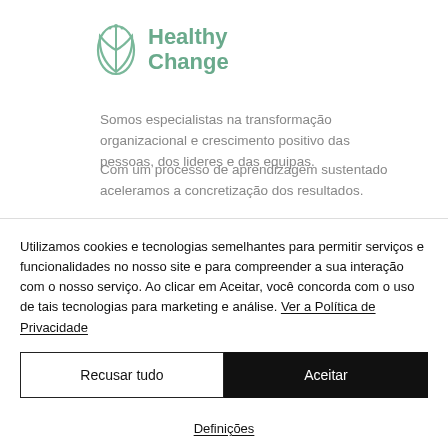[Figure (logo): Healthy Change logo — a stylized leaf/plant icon in sage green next to bold text 'Healthy Change' in sage green]
Somos especialistas na transformação organizacional e crescimento positivo das pessoas, dos lideres e das equipas.
Com um processo de aprendizagem sustentado aceleramos a concretização dos resultados.
Utilizamos cookies e tecnologias semelhantes para permitir serviços e funcionalidades no nosso site e para compreender a sua interação com o nosso serviço. Ao clicar em Aceitar, você concorda com o uso de tais tecnologias para marketing e análise. Ver a Política de Privacidade
Recusar tudo
Aceitar
Definições